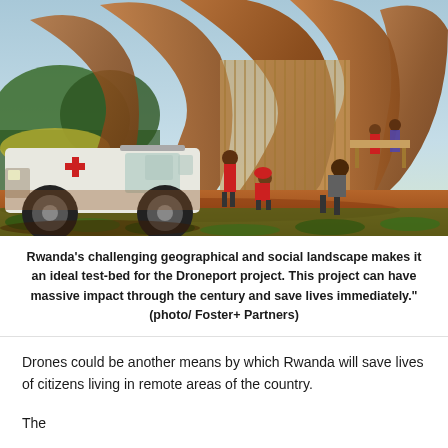[Figure (illustration): Architectural rendering (photo by Foster+ Partners) showing an ambulance/SUV with a red cross parked in front of a dramatic organic-shaped structure with petal-like curved copper/bronze arches. Several people in red uniforms are working around the vehicle on a red dirt road, with green grass and trees visible in the background.]
Rwanda's challenging geographical and social landscape makes it an ideal test-bed for the Droneport project. This project can have massive impact through the century and save lives immediately." (photo/ Foster+ Partners)
Drones could be another means by which Rwanda will save lives of citizens living in remote areas of the country.
The...